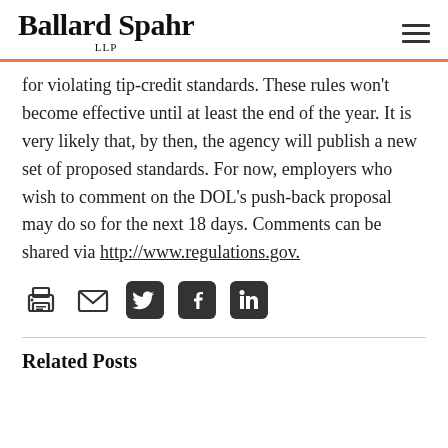Ballard Spahr LLP
for violating tip-credit standards. These rules won't become effective until at least the end of the year. It is very likely that, by then, the agency will publish a new set of proposed standards. For now, employers who wish to comment on the DOL's push-back proposal may do so for the next 18 days. Comments can be shared via http://www.regulations.gov.
[Figure (other): Social sharing icons: print, email, Twitter, Facebook, LinkedIn]
Related Posts